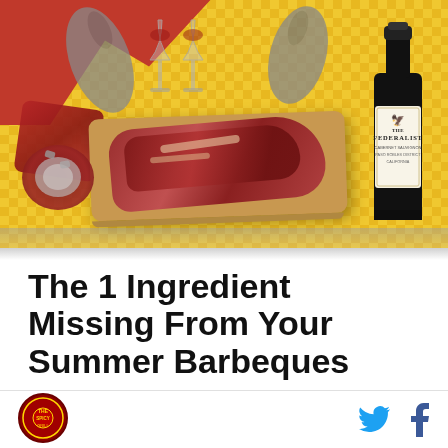[Figure (photo): Collage-style illustration with a yellow checkered tablecloth background, raw steaks on a cutting board, a wine bottle labeled 'The Federalist', two hands clinking wine glasses, red meat pieces scattered, and a rolled meat piece at bottom-left.]
The 1 Ingredient Missing From Your Summer Barbeques
[Figure (logo): Circular logo with dark red border on the left side]